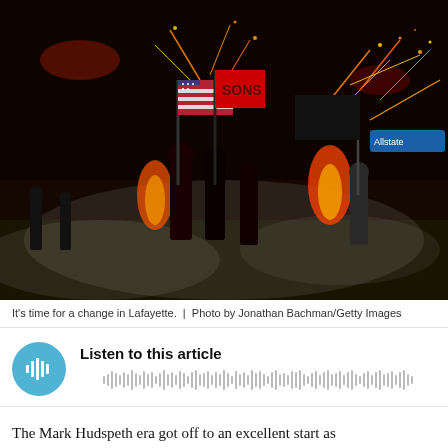[Figure (photo): Football players running onto a stadium field at night carrying flags including the US flag and a team flag, with pyrotechnic sparks and flames in the background. An Allstate advertisement sign is visible in the upper right.]
It's time for a change in Lafayette.  |  Photo by Jonathan Bachman/Getty Images
[Figure (other): Audio player widget with a circular blue play button icon showing sound wave bars and a waveform visualization. Title reads 'Listen to this article'.]
The Mark Hudspeth era got off to an excellent start as